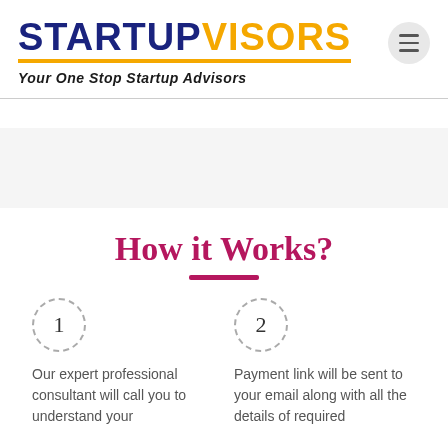STARTUPVISORS – Your One Stop Startup Advisors
How it Works?
1 – Our expert professional consultant will call you to understand your
2 – Payment link will be sent to your email along with all the details of required